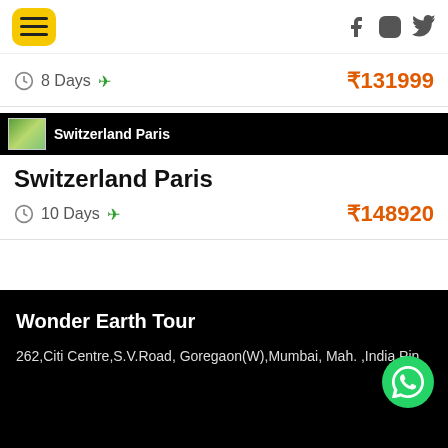Navigation header with hamburger menu and social icons (Facebook, Instagram, Twitter)
8 Days ✈  ₹131999
[Figure (photo): Switzerland Paris destination banner image on black background]
Switzerland Paris
10 Days ✈  ₹148920
Wonder Earth Tour
262,Citi Centre,S.V.Road, Goregaon(W),Mumbai, Mah. ,India Pin